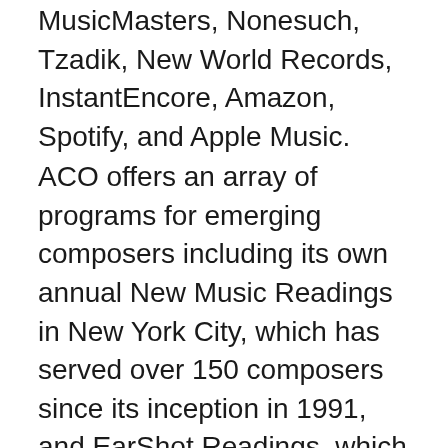MusicMasters, Nonesuch, Tzadik, New World Records, InstantEncore, Amazon, Spotify, and Apple Music.
ACO offers an array of programs for emerging composers including its own annual New Music Readings in New York City, which has served over 150 composers since its inception in 1991, and EarShot Readings, which since 2008 have been offered in partnership with orchestras across the country in collaboration with the League of American Orchestras, New Music USA and American Composers Forum. These Readings provide the rare opportunity for emerging composers to hear their original works played by a professional